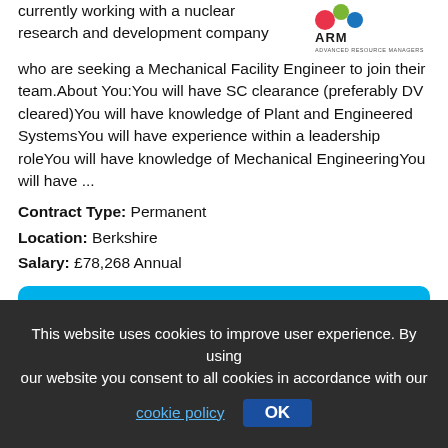currently working with a nuclear research and development company who are seeking a Mechanical Facility Engineer to join their team.About You:You will have SC clearance (preferably DV cleared)You will have knowledge of Plant and Engineered SystemsYou will have experience within a leadership roleYou will have knowledge of Mechanical EngineeringYou will have ...
[Figure (logo): ARM Advanced Resource Managers logo — circular red, green, blue dots with ARM text]
Contract Type: Permanent
Location: Berkshire
Salary: £78,268 Annual
View full details
This website uses cookies to improve user experience. By using our website you consent to all cookies in accordance with our cookie policy OK